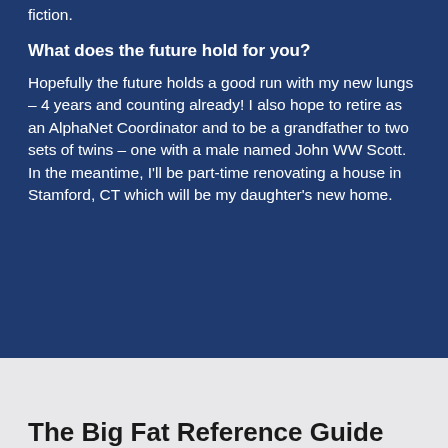fiction.
What does the future hold for you?
Hopefully the future holds a good run with my new lungs – 4 years and counting already! I also hope to retire as an AlphaNet Coordinator and to be a grandfather to two sets of twins – one with a male named John WW Scott.  In the meantime, I'll be part-time renovating a house in Stamford, CT which will be my daughter's new home.
The Big Fat Reference Guide